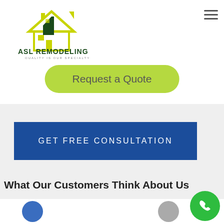[Figure (logo): ASL Remodeling logo with house icon and text 'ASL REMODELING - QUALITY IS OUR SPECIALTY']
[Figure (other): Hamburger menu icon (three horizontal lines) in top right corner]
Request a Quote
GET FREE CONSULTATION
What Our Customers Think About Us
[Figure (other): Green circular phone call button in bottom right corner]
[Figure (other): Blue circular avatar icon at bottom left]
[Figure (other): Gray circular avatar icon at bottom right area]